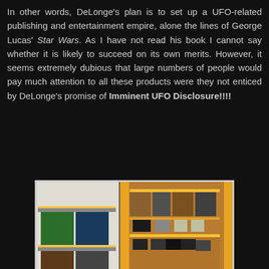In other words, DeLonge's plan is to set up a UFO-related publishing and entertainment empire, alone the lines of George Lucas' Star Wars. As I have not read his book I cannot say whether it is likely to succeed on its own merits. However, it seems extremely dubious that large numbers of people would pay much attention to all these products were they not enticed by DeLonge's promise of Imminent UFO Disclosure!!!!
[Figure (photo): A retail display or store shelf unit illuminated with warm amber/yellow LED strip lighting, showing multiple shelves stocked with merchandise including T-shirts, books, hats/caps, and other items arranged on shelves.]
Where else can you buy T-shirts, books, and hats?